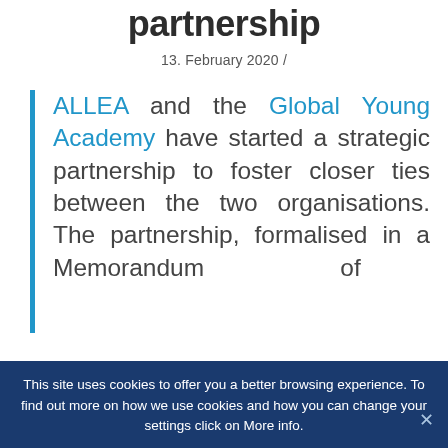partnership
13. February 2020 /
ALLEA and the Global Young Academy have started a strategic partnership to foster closer ties between the two organisations. The partnership, formalised in a Memorandum of
This site uses cookies to offer you a better browsing experience. To find out more on how we use cookies and how you can change your settings click on More info.